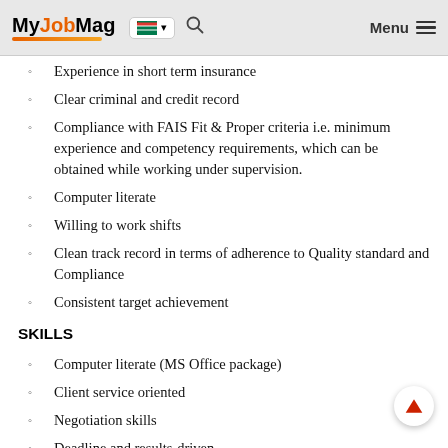MyJobMag [SA flag] [search] Menu
Experience in short term insurance
Clear criminal and credit record
Compliance with FAIS Fit & Proper criteria i.e. minimum experience and competency requirements, which can be obtained while working under supervision.
Computer literate
Willing to work shifts
Clean track record in terms of adherence to Quality standard and Compliance
Consistent target achievement
SKILLS
Computer literate (MS Office package)
Client service oriented
Negotiation skills
Deadline and results-driven